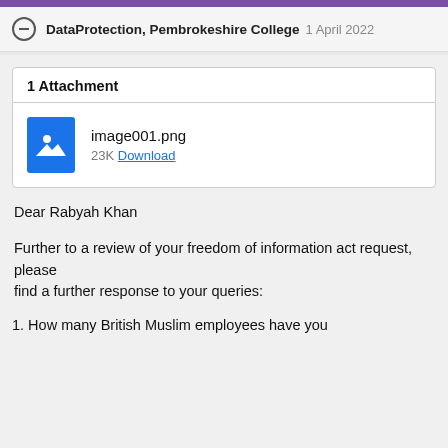DataProtection, Pembrokeshire College 1 April 2022
1 Attachment
[Figure (other): Blue file icon representing an image file attachment]
image001.png
23K Download
Dear Rabyah Khan
Further to a review of your freedom of information act request, please find a further response to your queries:
1. How many British Muslim employees have you